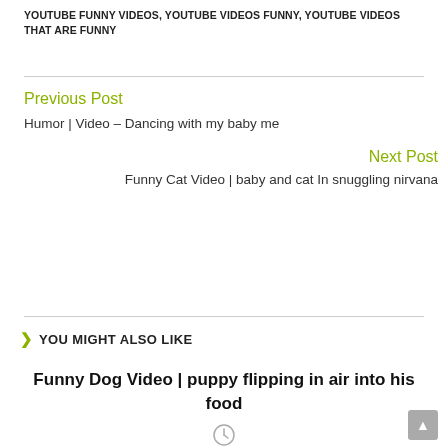YOUTUBE FUNNY VIDEOS, YOUTUBE VIDEOS FUNNY, YOUTUBE VIDEOS THAT ARE FUNNY
Previous Post
Humor | Video – Dancing with my baby me
Next Post
Funny Cat Video | baby and cat In snuggling nirvana
YOU MIGHT ALSO LIKE
Funny Dog Video | puppy flipping in air into his food